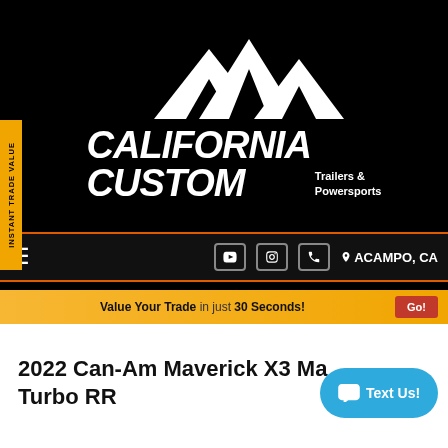[Figure (logo): California Custom Trailers & Powersports logo with mountain peaks graphic on black background]
INSTANT TRADE VALUE
[Figure (infographic): Navigation bar with hamburger menu, YouTube, Instagram, phone icons and ACAMPO, CA location]
Value Your Trade in just 30 Seconds! Go!
2022 Can-Am Maverick X3 Ma... Turbo RR
[Figure (other): Text Us! chat button]